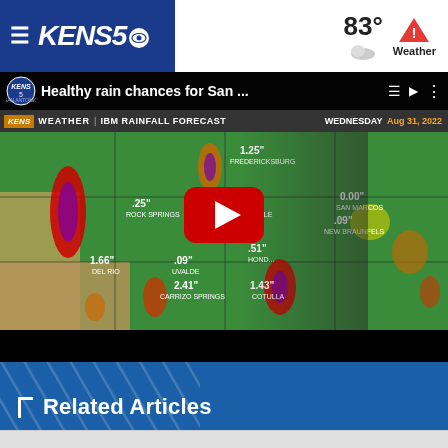KENS5 — 83° Weather
[Figure (screenshot): YouTube-style video thumbnail showing a KENS5 weather broadcast with IBM Rainfall Forecast map for Wednesday Aug 31, 2022. The map shows rainfall amounts across South Texas cities including Fredericksburg 1.25", Rock Springs .25", Kerrville 1.37", San Marcos 0.00", New Braunfels .09", Del Rio 1.66", Uvalde .09", Hondo .51", Carrizo Springs 2.41", Cotulla 1.43". A meteorologist stands in front of the radar map. A red YouTube play button is overlaid in the center.]
Healthy rain chances for San ...
Related Articles